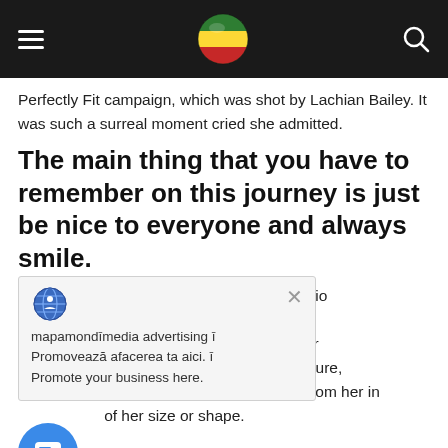Navigation header with hamburger menu, flag globe logo, and search icon
Perfectly Fit campaign, which was shot by Lachian Bailey. It was such a surreal moment cried she admitted.
The main thing that you have to remember on this journey is just be nice to everyone and always smile.
[Figure (other): Advertisement popup with globe icon, close button, and text: mapamondmedia advertising. Promoveaza afacerea ta aici. Promote your business here.]
a bigger girl, Dalbesio e market but I'm Calvin Klein] has ever dating. She wasn't sure, she said of the shoot, what was expected from her in of her size or shape.
Refreshingly, what was expected of her was the same